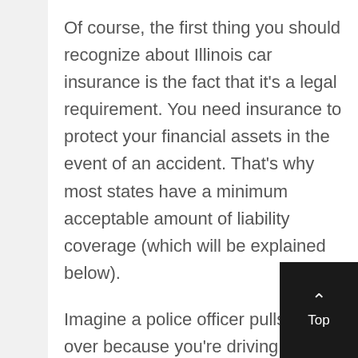Of course, the first thing you should recognize about Illinois car insurance is the fact that it's a legal requirement. You need insurance to protect your financial assets in the event of an accident. That's why most states have a minimum acceptable amount of liability coverage (which will be explained below).
Imagine a police officer pulls you over because you're driving a little bit faster than the speed limit. You've never invested in proper vehicle insurance, though.